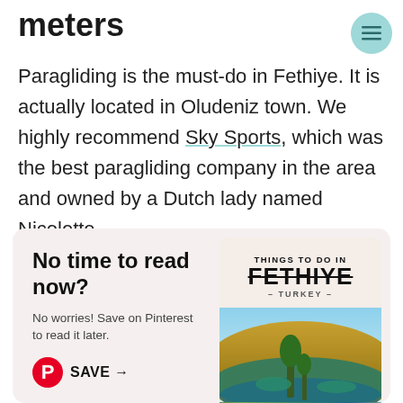meters
Paragliding is the must-do in Fethiye. It is actually located in Oludeniz town. We highly recommend Sky Sports, which was the best paragliding company in the area and owned by a Dutch lady named Nicolette.
[Figure (infographic): Promotional Pinterest save box with 'No time to read now?' heading and a Fethiye Turkey travel card image on the right]
No time to read now?
No worries! Save on Pinterest to read it later.
SAVE →
THINGS TO DO IN FETHIYE – TURKEY –